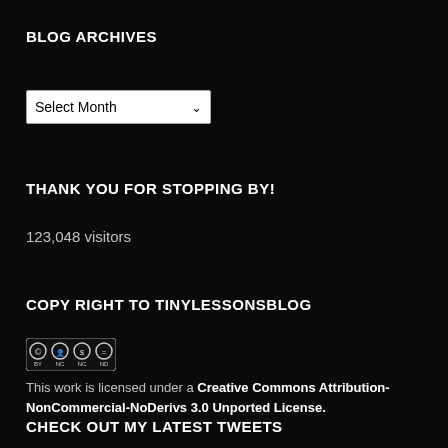BLOG ARCHIVES
[Figure (other): Dropdown select menu labeled 'Select Month' with a chevron arrow]
THANK YOU FOR STOPPING BY!
123,048 visitors
COPY RIGHT TO TINYLESSONSBLOG
[Figure (logo): Creative Commons BY-NC-ND license badge icons]
This work is licensed under a Creative Commons Attribution-NonCommercial-NoDerivs 3.0 Unported License.
CHECK OUT MY LATEST TWEETS